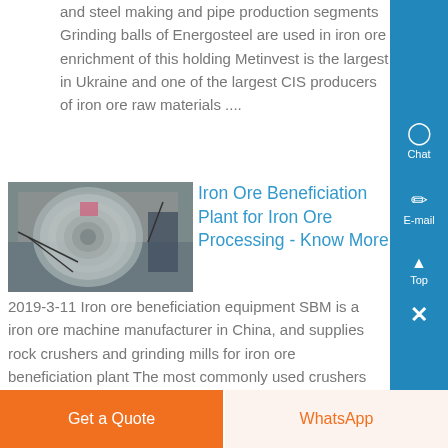and steel making and pipe production segments Grinding balls of Energosteel are used in iron ore enrichment of this holding Metinvest is the largest in Ukraine and one of the largest CIS producers of iron ore raw materials ....
[Figure (photo): Industrial equipment photo showing coiled metal or cylindrical industrial machinery in a workshop setting]
Iron Ore Beneficiation Plant for Iron Ore Processing - Know More
2019-3-11 Iron ore beneficiation equipment SBM is a iron ore machine manufacturer in China, and supplies rock crushers and grinding mills for iron ore beneficiation plant The most commonly used crushers and grinding mills in iron